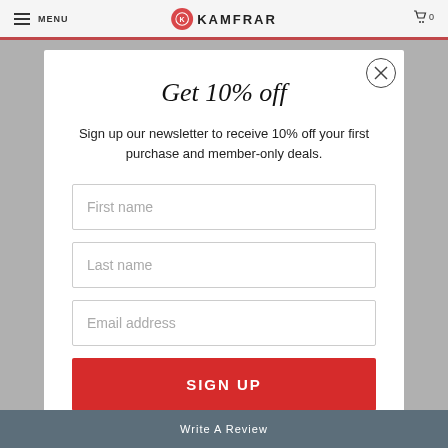MENU | KAMFRAR | 0
Get 10% off
Sign up our newsletter to receive 10% off your first purchase and member-only deals.
First name
Last name
Email address
SIGN UP
Write A Review